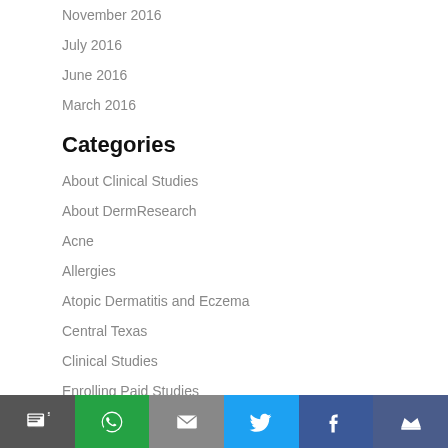November 2016
July 2016
June 2016
March 2016
Categories
About Clinical Studies
About DermResearch
Acne
Allergies
Atopic Dermatitis and Eczema
Central Texas
Clinical Studies
Enrolling Paid Studies